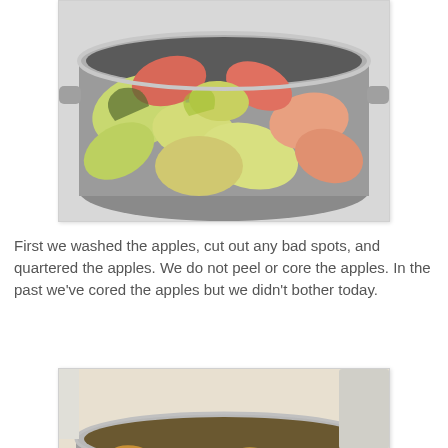[Figure (photo): A large stainless steel pot filled with raw quartered apples, showing green and red apple pieces with skin on, viewed from above.]
First we washed the apples, cut out any bad spots, and quartered the apples. We do not peel or core the apples. In the past we've cored the apples but we didn't bother today.
[Figure (photo): A stainless steel pot filled with cooked softened apple quarters, now golden-brown and softened from cooking, viewed from above on a kitchen counter.]